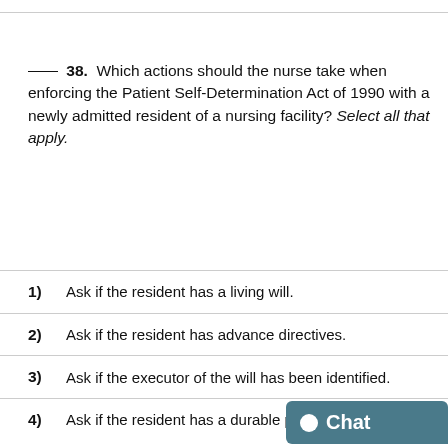___ 38. Which actions should the nurse take when enforcing the Patient Self-Determination Act of 1990 with a newly admitted resident of a nursing facility? Select all that apply.
1) Ask if the resident has a living will.
2) Ask if the resident has advance directives.
3) Ask if the executor of the will has been identified.
4) Ask if the resident has a durable power of attorney.